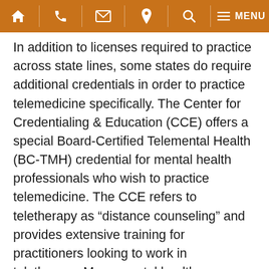Navigation bar with home, phone, email, location, search, and menu icons
In addition to licenses required to practice across state lines, some states do require additional credentials in order to practice telemedicine specifically. The Center for Credentialing & Education (CCE) offers a special Board-Certified Telemental Health (BC-TMH) credential for mental health professionals who wish to practice telemedicine. The CCE refers to teletherapy as “distance counseling” and provides extensive training for practitioners looking to work in teletherapy. Many mental health professionals now hold this advanced credential in the area of telemedicine, demonstrating a special commitment to the practice of distance counseling.
ou are a healthcare provider, employer, or other